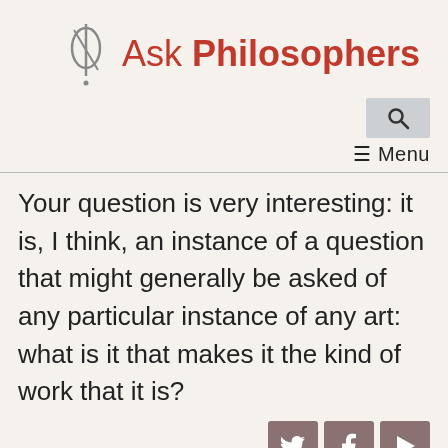Ask Philosophers
[Figure (logo): Search icon button (magnifying glass) in a grey box]
≡ Menu
Your question is very interesting: it is, I think, an instance of a question that might generally be asked of any particular instance of any art: what is it that makes it the kind of work that it is?
[Figure (other): Social media icons: Twitter, Facebook, and Play/video button in brownish-grey squares]
To fix ideas, consider the following question,